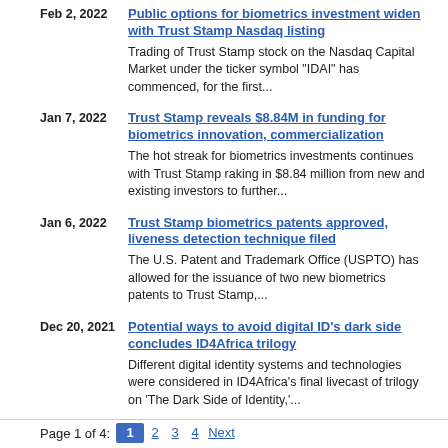Feb 2, 2022 — Public options for biometrics investment widen with Trust Stamp Nasdaq listing. Trading of Trust Stamp stock on the Nasdaq Capital Market under the ticker symbol "IDAI" has commenced, for the first...
Jan 7, 2022 — Trust Stamp reveals $8.84M in funding for biometrics innovation, commercialization. The hot streak for biometrics investments continues with Trust Stamp raking in $8.84 million from new and existing investors to further...
Jan 6, 2022 — Trust Stamp biometrics patents approved, liveness detection technique filed. The U.S. Patent and Trademark Office (USPTO) has allowed for the issuance of two new biometrics patents to Trust Stamp,...
Dec 20, 2021 — Potential ways to avoid digital ID's dark side concludes ID4Africa trilogy. Different digital identity systems and technologies were considered in ID4Africa's final livecast of trilogy on 'The Dark Side of Identity,'...
Page 1 of 4:  1  2  3  4  Next